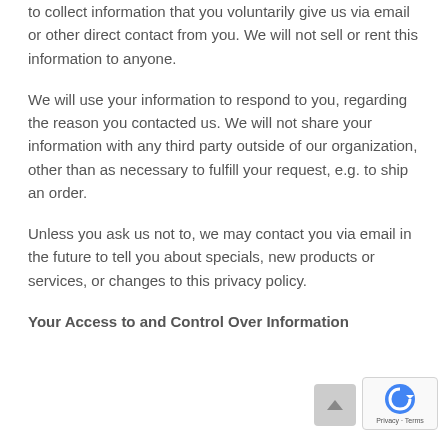to collect information that you voluntarily give us via email or other direct contact from you. We will not sell or rent this information to anyone.
We will use your information to respond to you, regarding the reason you contacted us. We will not share your information with any third party outside of our organization, other than as necessary to fulfill your request, e.g. to ship an order.
Unless you ask us not to, we may contact you via email in the future to tell you about specials, new products or services, or changes to this privacy policy.
Your Access to and Control Over Information